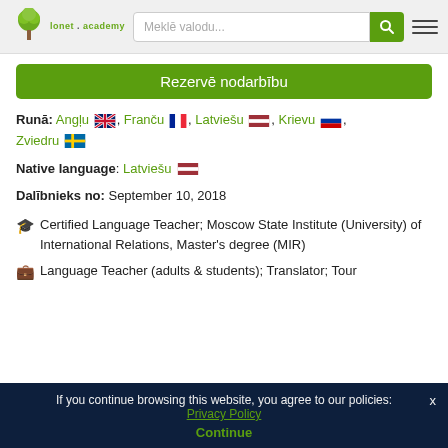lonet.academy — Meklē valodu...
Rezervē nodarbību
Runā: Angļu, Franču, Latviešu, Krievu, Zviedru
Native language: Latviešu
Dalībnieks no: September 10, 2018
🎓 Certified Language Teacher; Moscow State Institute (University) of International Relations, Master's degree (MIR)
💼 Language Teacher (adults & students); Translator; Tour
If you continue browsing this website, you agree to our policies: Privacy Policy Continue